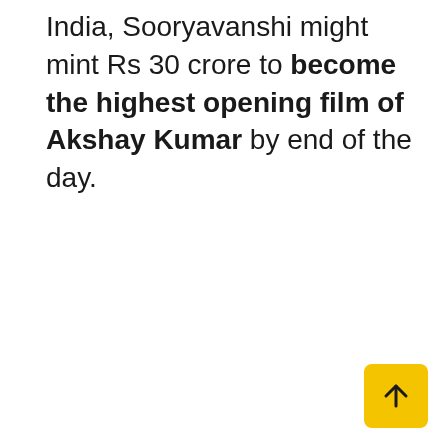India, Sooryavanshi might mint Rs 30 crore to become the highest opening film of Akshay Kumar by end of the day.
[Figure (other): Yellow square button with upward arrow (scroll-to-top button) in bottom-right corner]